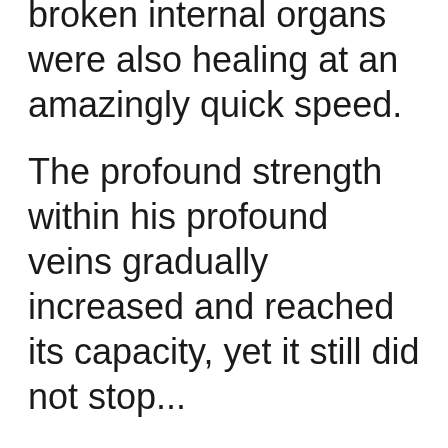broken internal organs were also healing at an amazingly quick speed.
The profound strength within his profound veins gradually increased and reached its capacity, yet it still did not stop...
A soft sound rang, and Yun Che heard a faint noise of something breaking. At this moment, the sensation that a hurdle had been